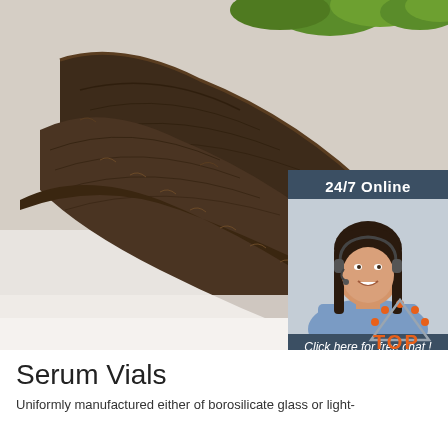[Figure (photo): Close-up photo of dried dark bark/roots (possibly licorice or similar herb) on a white surface, with green leaves visible at the top. A customer service widget overlays the top-right corner showing a smiling woman with a headset, with '24/7 Online' header and 'Click here for free chat!' text, plus an orange 'QUOTATION' button.]
[Figure (logo): Orange and grey 'TOP' logo with triangle/arc of dots above the letters]
Serum Vials
Uniformly manufactured either of borosilicate glass or light-